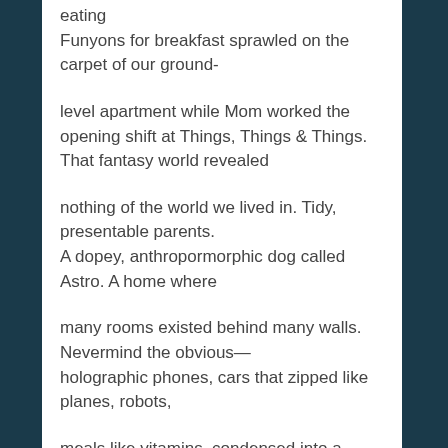eating
Funyons for breakfast sprawled on the carpet of our ground-
level apartment while Mom worked the opening shift at Things, Things & Things. That fantasy world revealed
nothing of the world we lived in. Tidy, presentable parents.
A dopey, anthropormorphic dog called Astro. A home where
many rooms existed behind many walls. Nevermind the obvious—
holographic phones, cars that zipped like planes, robots,
meals like vitamins, condensed into a single pill. Suspended
above earth, there were no trees or birds, sun or